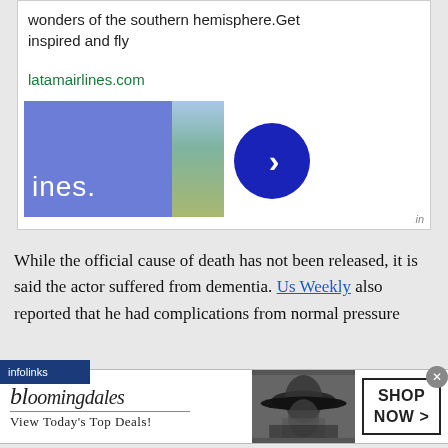[Figure (screenshot): Advertisement for LATAM Airlines with blue rectangle showing 'ines.' text, a scenic background image, a blue circular button with right chevron arrow, and 'in' badge. Shows text: 'wonders of the southern hemisphere.Get inspired and fly' and link 'latamairlines.com']
While the official cause of death has not been released, it is said the actor suffered from dementia. Us Weekly also reported that he had complications from normal pressure
[Figure (screenshot): Bloomingdales advertisement banner showing logo, tagline 'View Today's Top Deals!', model photo with wide brim hat, and 'SHOP NOW >' button. Has infolinks label and close X button.]